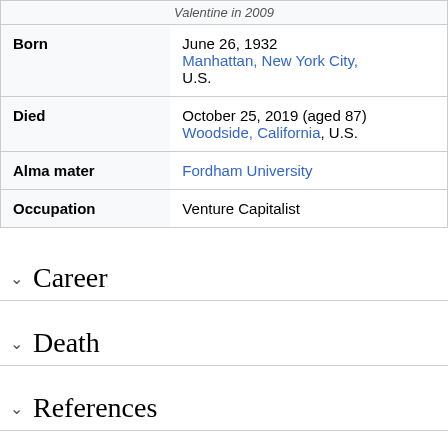| Field | Value |
| --- | --- |
| Born | June 26, 1932
Manhattan, New York City, U.S. |
| Died | October 25, 2019 (aged 87)
Woodside, California, U.S. |
| Alma mater | Fordham University |
| Occupation | Venture Capitalist |
Career
Death
References